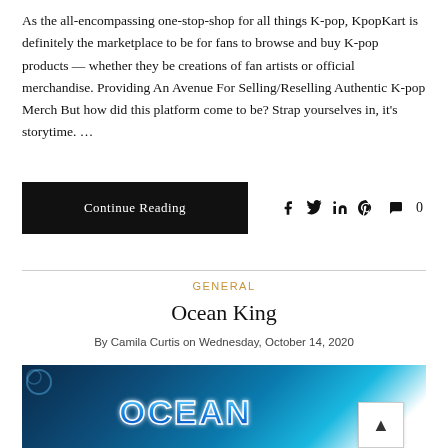As the all-encompassing one-stop-shop for all things K-pop, KpopKart is definitely the marketplace to be for fans to browse and buy K-pop products — whether they be creations of fan artists or official merchandise. Providing An Avenue For Selling/Reselling Authentic K-pop Merch But how did this platform come to be? Strap yourselves in, it's storytime. …
Continue Reading
0
GENERAL
Ocean King
By Camila Curtis on Wednesday, October 14, 2020
[Figure (photo): Ocean King game logo with blue underwater background featuring glowing light effects and stylized 'OCEAN' text in blue and white 3D lettering]